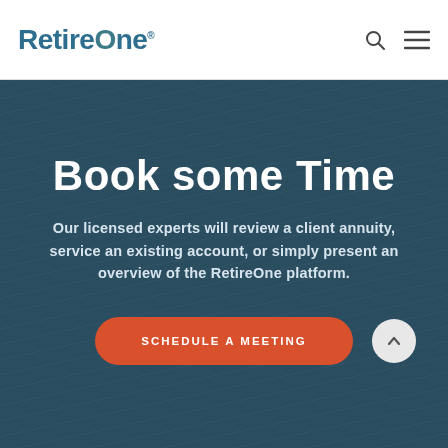RetireOne® [search icon] [menu icon]
Book some Time
Our licensed experts will review a client annuity, service an existing account, or simply present an overview of the RetireOne platform.
SCHEDULE A MEETING